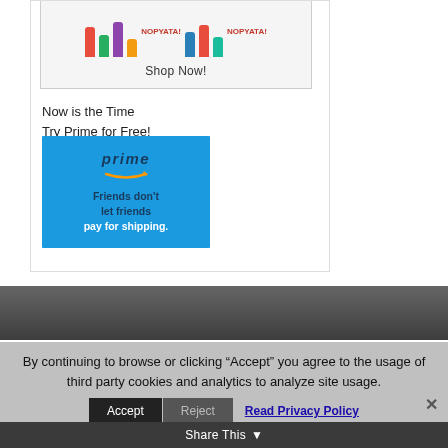[Figure (screenshot): Advertisement image showing colorful candy/party items with 'NOPYATA!' branding and a 'Shop Now!' call to action]
Now is the Time
Try Prime for Free!
[Figure (screenshot): Amazon Prime banner ad on blue background with 'prime' logo, Amazon smile arrow, and text 'Friends don't let friends pay for shipping.']
By continuing to browse or clicking “Accept” you agree to the usage of third party cookies and analytics to analyze site usage.
Accept
Reject
Read Privacy Policy
Share This